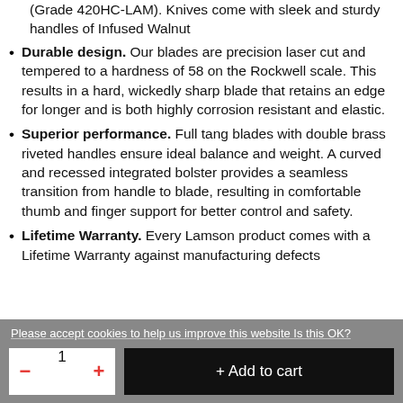(Grade 420HC-LAM). Knives come with sleek and sturdy handles of Infused Walnut
Durable design. Our blades are precision laser cut and tempered to a hardness of 58 on the Rockwell scale. This results in a hard, wickedly sharp blade that retains an edge for longer and is both highly corrosion resistant and elastic.
Superior performance. Full tang blades with double brass riveted handles ensure ideal balance and weight. A curved and recessed integrated bolster provides a seamless transition from handle to blade, resulting in comfortable thumb and finger support for better control and safety.
Lifetime Warranty. Every Lamson product comes with a Lifetime Warranty against manufacturing defects
Please accept cookies to help us improve this website Is this OK?
1  + Add to cart